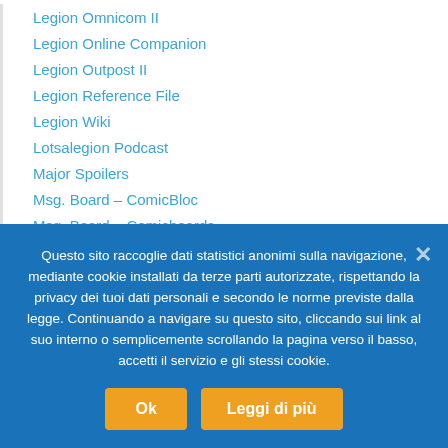Legion Omnicom II
Legion Online Companion
Legion Outpost II
Legion Reference File
Legion Wiki
Lotsalegion Podcast
Major Spoilers
Msg. Board – ComicBloc
Msg. Board – Comicboards
Msg. Board – Legion World
Msg. Board – LoSH Official
Msg. Board – SCF Forum
Msg. Board – Legion Lost Official
Pocket Universe Primer
Questo sito raccoglie dati statistici anonimi sulla navigazione, mediante cookie installati da terze parti autorizzate, rispettando la privacy dei tuoi dati personali e secondo le norme previste dalla legge. Continuando a navigare su questo sito, cliccando sui link al suo interno o semplicemente scrollando la pagina verso il basso, accetti il servizio e gli stessi cookie.